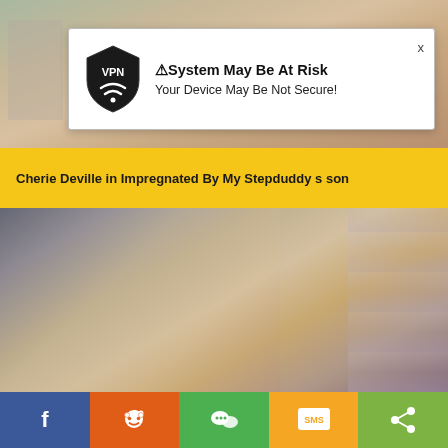[Figure (screenshot): Top portion of a video thumbnail with blurred adult content, light beige/flesh tones background]
[Figure (screenshot): VPN popup overlay with shield logo reading 'VPN', title '⚠System May Be At Risk', subtitle 'Your Device May Be Not Secure!' with X close button]
Cherie Deville in Impregnated By My Stepduddy s son
[Figure (screenshot): Video thumbnail showing people, muted tones with curtains in background]
[Figure (screenshot): Social sharing bar with Facebook, Reddit, WeChat, SMS, and generic share buttons]